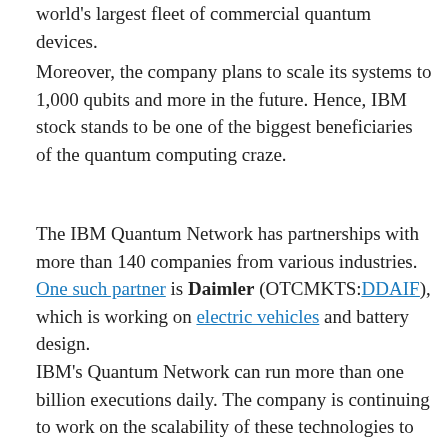world's largest fleet of commercial quantum devices.
Moreover, the company plans to scale its systems to 1,000 qubits and more in the future. Hence, IBM stock stands to be one of the biggest beneficiaries of the quantum computing craze.
The IBM Quantum Network has partnerships with more than 140 companies from various industries. One such partner is Daimler (OTCMKTS:DDAIF), which is working on electric vehicles and battery design.
IBM’s Quantum Network can run more than one billion executions daily. The company is continuing to work on the scalability of these technologies to make them more accessible. As a result, IBM stock is poised to be among